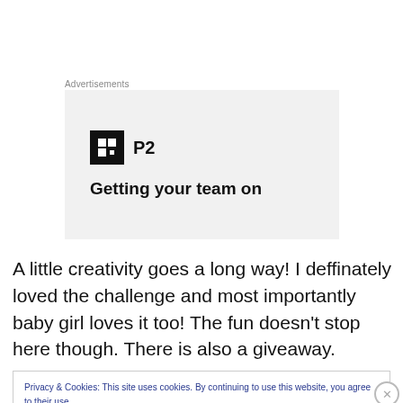Advertisements
[Figure (other): Advertisement banner for P2 product with logo and tagline 'Getting your team on']
A little creativity goes a long way! I deffinately loved the challenge and most importantly baby girl loves it too! The fun doesn't stop here though. There is also a giveaway.
Privacy & Cookies: This site uses cookies. By continuing to use this website, you agree to their use.
To find out more, including how to control cookies, see here: Cookie Policy